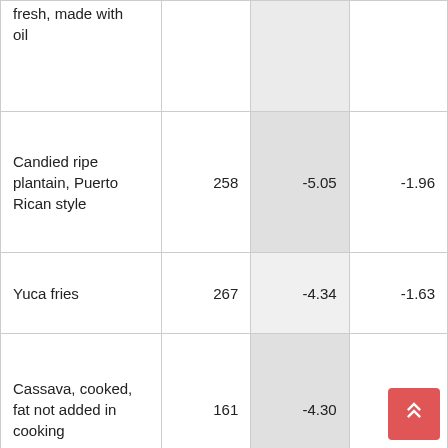| Food item | Calories | Col3 | Col4 |
| --- | --- | --- | --- |
| fresh, made with oil |  |  |  |
| Candied ripe plantain, Puerto Rican style | 258 | -5.05 | -1.96 |
| Yuca fries | 267 | -4.34 | -1.63 |
| Cassava, cooked, fat not added in cooking | 161 | -4.30 | -2.67 |
| Cassava, cooked, NS as to fat added in cooking | 176 | -4.16 | -2.36 |
| Cassava... |  |  |  |